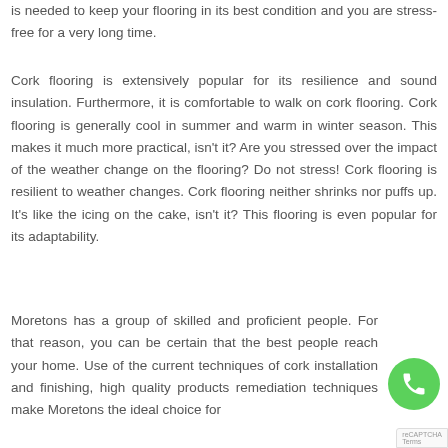is needed to keep your flooring in its best condition and you are stress-free for a very long time.
Cork flooring is extensively popular for its resilience and sound insulation. Furthermore, it is comfortable to walk on cork flooring. Cork flooring is generally cool in summer and warm in winter season. This makes it much more practical, isn't it? Are you stressed over the impact of the weather change on the flooring? Do not stress! Cork flooring is resilient to weather changes. Cork flooring neither shrinks nor puffs up. It's like the icing on the cake, isn't it? This flooring is even popular for its adaptability.
Moretons has a group of skilled and proficient people. For that reason, you can be certain that the best people reach your home. Use of the current techniques of cork installation and finishing, high quality products remediation techniques make Moretons the ideal choice for